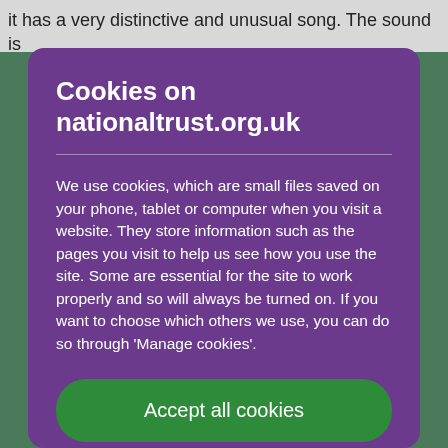it has a very distinctive and unusual song. The sound is
Cookies on nationaltrust.org.uk
We use cookies, which are small files saved on your phone, tablet or computer when you visit a website. They store information such as the pages you visit to help us see how you use the site. Some are essential for the site to work properly and so will always be turned on. If you want to choose which others we use, you can do so through 'Manage cookies'.
Accept all cookies
Manage cookies